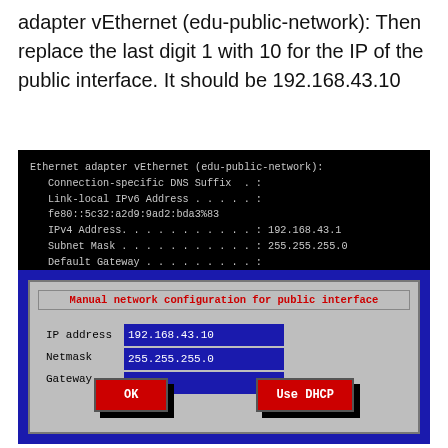adapter vEthernet (edu-public-network): Then replace the last digit 1 with 10 for the IP of the public interface. It should be 192.168.43.10
[Figure (screenshot): Terminal window showing Ethernet adapter vEthernet (edu-public-network) details: Connection-specific DNS Suffix, Link-local IPv6 Address fe80::5c32:a2d9:9ad2:bda3%83, IPv4 Address 192.168.43.1, Subnet Mask 255.255.255.0, Default Gateway]
[Figure (screenshot): Dialog box titled 'Manual network configuration for public interface' with fields: IP address 192.168.43.10, Netmask 255.255.255.0, Gateway (empty), and buttons OK and Use DHCP]